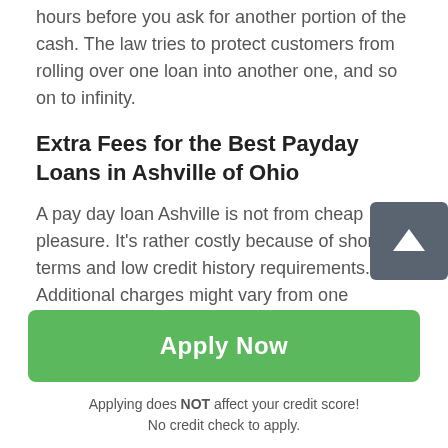hours before you ask for another portion of the cash. The law tries to protect customers from rolling over one loan into another one, and so on to infinity.
Extra Fees for the Best Payday Loans in Ashville of Ohio
A pay day loan Ashville is not from cheap pleasure. It's rather costly because of short terms and low credit history requirements. Additional charges might vary from one provider to another, but they cannot exceed 10% per $100. Besides, a customer should pay $5 of verification fee and no more than 304% of APR for a 300-dollar loan. Note, the amount of extra money you should pay depends on the
Apply Now
Applying does NOT affect your credit score!
No credit check to apply.